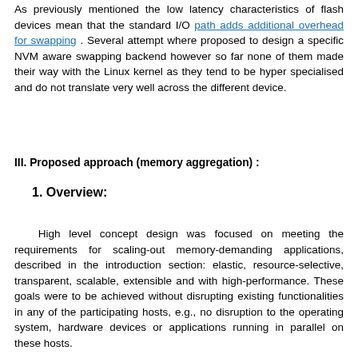As previously mentioned the low latency characteristics of flash devices mean that the standard I/O path adds additional overhead for swapping . Several attempt where proposed to design a specific NVM aware swapping backend however so far none of them made their way with the Linux kernel as they tend to be hyper specialised and do not translate very well across the different device.
III. Proposed approach (memory aggregation) :
1. Overview:
High level concept design was focused on meeting the requirements for scaling-out memory-demanding applications, described in the introduction section: elastic, resource-selective, transparent, scalable, extensible and with high-performance. These goals were to be achieved without disrupting existing functionalities in any of the participating hosts, e.g., no disruption to the operating system, hardware devices or applications running in parallel on these hosts.